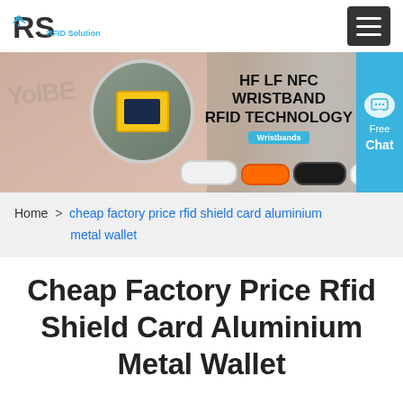RS RFID Solution [logo] [hamburger menu]
[Figure (photo): Banner image showing HF LF NFC WRISTBAND RFID TECHNOLOGY with wristbands product photos, a circular inset of a handheld RFID reader, and colorful silicone wristbands. A cyan 'Free Chat' button is on the right side.]
Home  >  cheap factory price rfid shield card aluminium metal wallet
Cheap Factory Price Rfid Shield Card Aluminium Metal Wallet